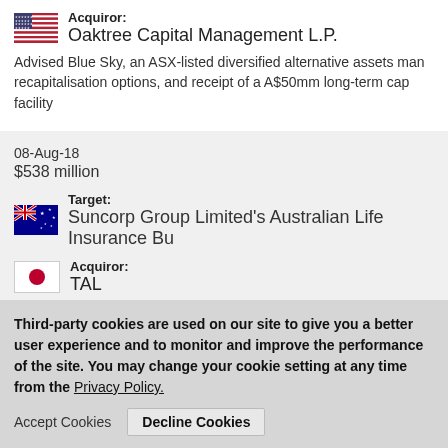Acquiror: Oaktree Capital Management L.P.
Advised Blue Sky, an ASX-listed diversified alternative assets manager, on its strategic review, recapitalisation options, and receipt of a A$50mm long-term capital facility
08-Aug-18
$538 million
Target: Suncorp Group Limited's Australian Life Insurance Bu...
Acquiror: TAL
Advised TAL, Australia's largest and leading insurance business through acquisition of Suncorp Group Limited's Australian Life Insurance business
Third-party cookies are used on our site to give you a better user experience and to monitor and improve the performance of the site.  You may change your cookie setting at any time from the Privacy Policy.
Accept Cookies   Decline Cookies